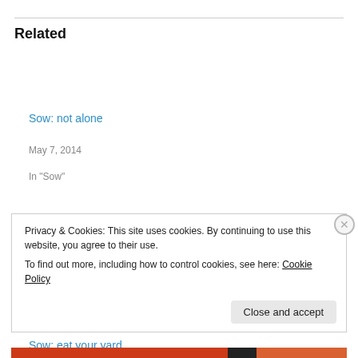Related
Sow: not alone
May 7, 2014
In "Sow"
Sow: signs
May 22, 2014
In "Sow"
Sow: eat your yard
March 9, 2013
In "Sow"
Privacy & Cookies: This site uses cookies. By continuing to use this website, you agree to their use.
To find out more, including how to control cookies, see here: Cookie Policy
Close and accept